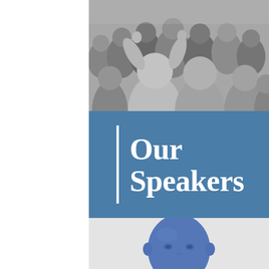[Figure (photo): Black and white photo of a crowd of people, some with raised hands, at what appears to be a public gathering or event.]
Our Speakers
[Figure (photo): Blue-tinted portrait photo of a bald person looking upward, set against a light grey background.]